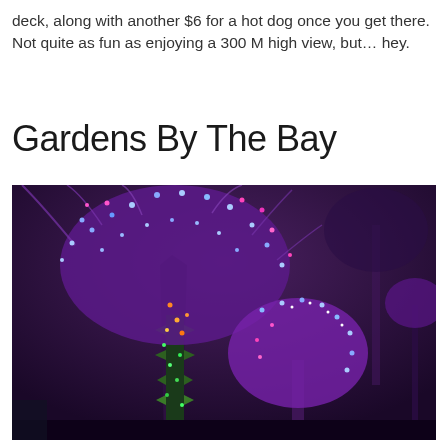deck, along with another $6 for a hot dog once you get there. Not quite as fun as enjoying a 300 M high view, but… hey.
Gardens By The Bay
[Figure (photo): Night photo of illuminated Supertree structures at Gardens by the Bay, Singapore. The trees glow with purple, blue, green, and pink LED lights against a dark purple night sky.]